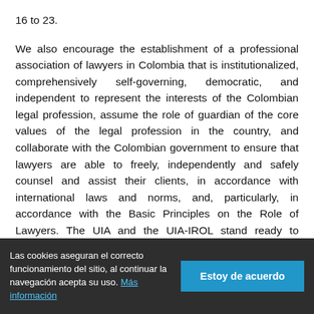16 to 23.
We also encourage the establishment of a professional association of lawyers in Colombia that is institutionalized, comprehensively self-governing, democratic, and independent to represent the interests of the Colombian legal profession, assume the role of guardian of the core values of the legal profession in the country, and collaborate with the Colombian government to ensure that lawyers are able to freely, independently and safely counsel and assist their clients, in accordance with international laws and norms, and, particularly, in accordance with the Basic Principles on the Role of Lawyers. The UIA and the UIA-IROL stand ready to support relevant efforts in this regard.
Las cookies aseguran el correcto funcionamiento del sitio, al continuar la navegación acepta su uso. Más información | Estoy de acuerdo